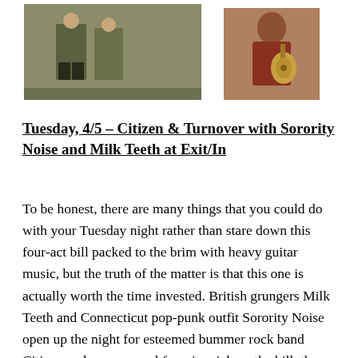[Figure (photo): Two people standing outdoors in green/military-style outfits on the left, and a person playing an acoustic guitar on the right]
Tuesday, 4/5 – Citizen & Turnover with Sorority Noise and Milk Teeth at Exit/In
To be honest, there are many things that you could do with your Tuesday night rather than stare down this four-act bill packed to the brim with heavy guitar music, but the truth of the matter is that this one is actually worth the time invested. British grungers Milk Teeth and Connecticut pop-punk outfit Sorority Noise open up the night for esteemed bummer rock band Citizen and my personal favorite pick on the bill, the shoegaze-inflected Turnover, whose 2015 record Peripheral Vision still gets